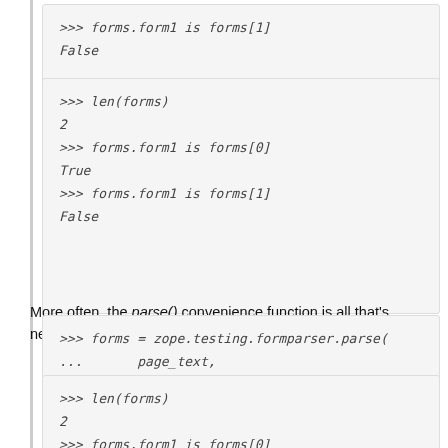>>> len(forms)
2
>>> forms.form1 is forms[0]
True
>>> forms.form1 is forms[1]
False
More often, the parse() convenience function is all that's needed:
>>> forms = zope.testing.formparser.parse(
...      page_text, "http://cgi.example.com/somew
>>> len(forms)
2
>>> forms.form1 is forms[0]